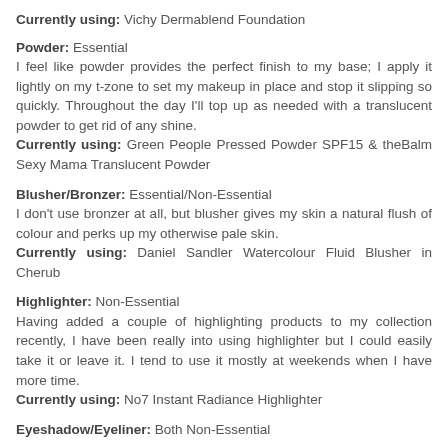Currently using: Vichy Dermablend Foundation
Powder: Essential
I feel like powder provides the perfect finish to my base; I apply it lightly on my t-zone to set my makeup in place and stop it slipping so quickly. Throughout the day I'll top up as needed with a translucent powder to get rid of any shine.
Currently using: Green People Pressed Powder SPF15 & theBalm Sexy Mama Translucent Powder
Blusher/Bronzer: Essential/Non-Essential
I don't use bronzer at all, but blusher gives my skin a natural flush of colour and perks up my otherwise pale skin.
Currently using: Daniel Sandler Watercolour Fluid Blusher in Cherub
Highlighter: Non-Essential
Having added a couple of highlighting products to my collection recently, I have been really into using highlighter but I could easily take it or leave it. I tend to use it mostly at weekends when I have more time.
Currently using: No7 Instant Radiance Highlighter
Eyeshadow/Eyeliner: Both Non-Essential